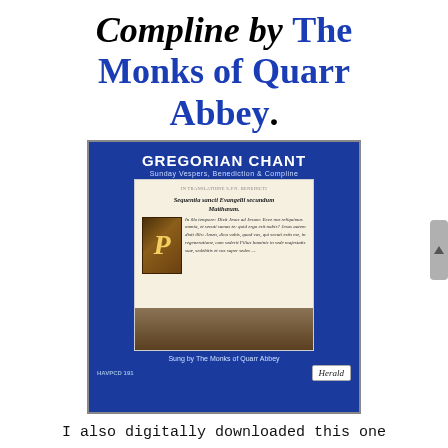Compline by The Monks of Quarr Abbey.
[Figure (photo): Album cover for 'Gregorian Chant: Sunday Vespers, Benediction & Compline' sung by The Monks of Quarr Abbey on Herold label (HAVPCD 191). Blue background with manuscript illumination showing Latin gospel text and monks in procession.]
I also digitally downloaded this one